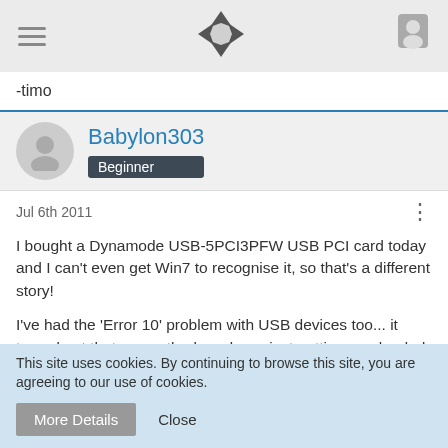Navigation bar with hamburger menu, site logo, and user icon
-timo
Babylon303 Beginner
Jul 6th 2011
I bought a Dynamode USB-5PCI3PFW USB PCI card today and I can't even get Win7 to recognise it, so that's a different story!

I've had the 'Error 10' problem with USB devices too... it turned out that my motherboard was just getting overloaded with info from other devices. Although my PC has 12 USB slots, it can't
This site uses cookies. By continuing to browse this site, you are agreeing to our use of cookies.